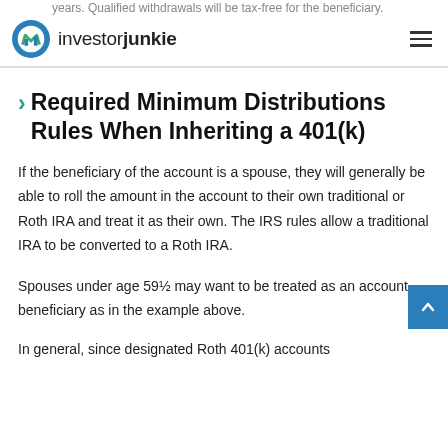investorjunkie
Required Minimum Distributions Rules When Inheriting a 401(k)
If the beneficiary of the account is a spouse, they will generally be able to roll the amount in the account to their own traditional or Roth IRA and treat it as their own. The IRS rules allow a traditional IRA to be converted to a Roth IRA.
Spouses under age 59½ may want to be treated as an account beneficiary as in the example above.
In general, since designated Roth 401(k) accounts